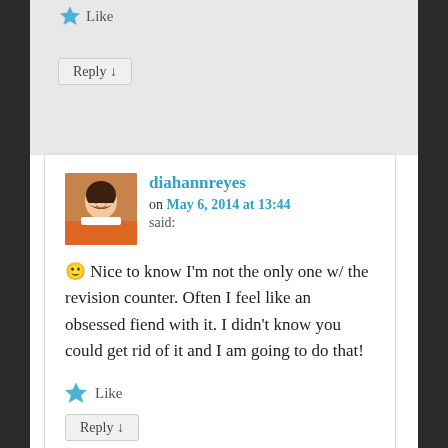[Figure (other): Star (liked) icon colored blue with Like text]
Reply ↓
diahannreyes on May 6, 2014 at 13:44 said:
🙂 Nice to know I'm not the only one w/ the revision counter. Often I feel like an obsessed fiend with it. I didn't know you could get rid of it and I am going to do that!
Like
Reply ↓